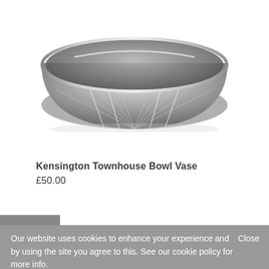[Figure (photo): A shiny silver metallic bowl vase photographed from slightly above, showing its wide rim and faceted/hammered reflective surface with white background.]
Kensington Townhouse Bowl Vase
£50.00
Our website uses cookies to enhance your experience and by using the site you agree to this. See our cookie policy for more info.